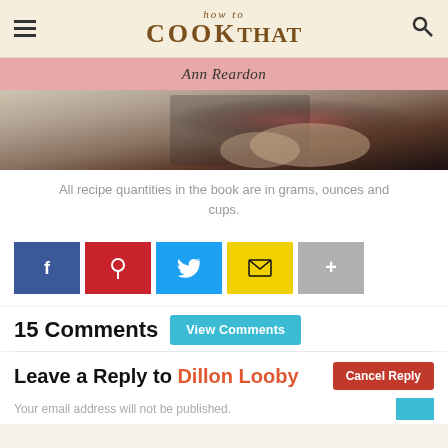how to COOK THAT
Ann Reardon
[Figure (photo): Person holding a cookbook with a tart/cake on the cover]
All recipe quantities in the book are in grams, ounces and cups.
Social share buttons: Facebook, Pinterest, Twitter, Email, More
15 Comments  View Comments
Leave a Reply to Dillon Looby  Cancel Reply
Your email address will not be published.